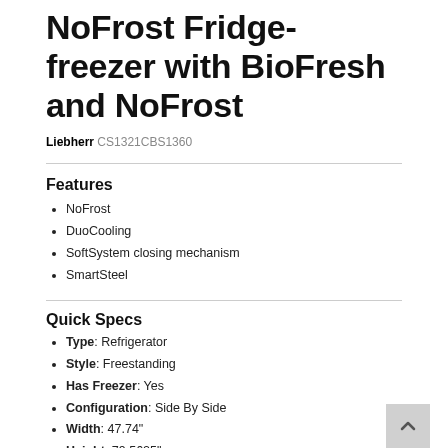NoFrost Fridge-freezer with BioFresh and NoFrost
Liebherr CS1321CBS1360
Features
NoFrost
DuoCooling
SoftSystem closing mechanism
SmartSteel
Quick Specs
Type: Refrigerator
Style: Freestanding
Has Freezer: Yes
Configuration: Side By Side
Width: 47.74"
Height: 79.5625"
Depth: 26"